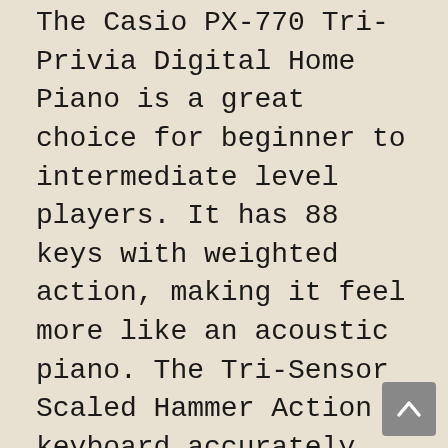The Casio PX-770 Tri-Privia Digital Home Piano is a great choice for beginner to intermediate level players. It has 88 keys with weighted action, making it feel more like an acoustic piano. The Tri-Sensor Scaled Hammer Action keyboard accurately recreates the touch and feel of an acoustic instrument. The sound engine provides realistic tone and dynamic range. The instrument also has USB and MIDI connections for use with computers and other digital music devices.
The PX-770 is a great sounding piano, with a rich, full tone that is well-suited for classical and jazz repertoire. The keyboard action is very good, providing a realistic piano playing experience. The built-in speakers are also